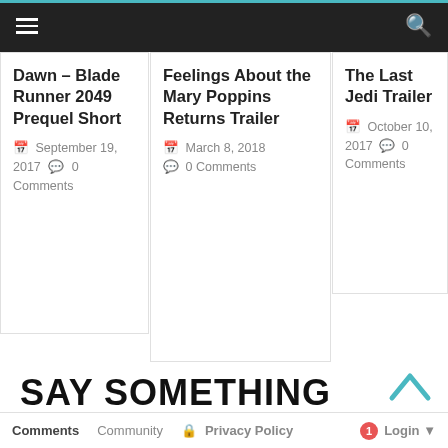Navigation bar with hamburger menu and search icon
Dawn – Blade Runner 2049 Prequel Short
September 19, 2017  0 Comments
Feelings About the Mary Poppins Returns Trailer
March 8, 2018  0 Comments
The Last Jedi Trailer
October 10, 2017  0 Comments
SAY SOMETHING
[Figure (logo): W logo icon (dark grey square with white W letter) and Facebook logo icon (light blue square with f letter)]
Comments  Community  Privacy Policy  Login